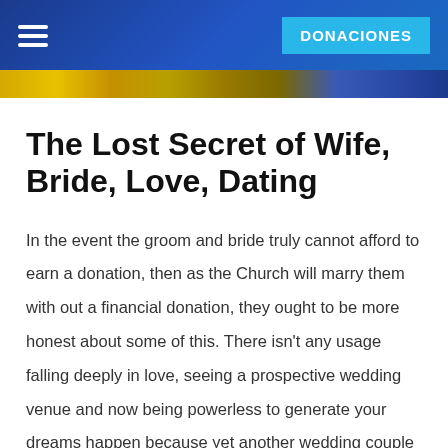DONACIONES
The Lost Secret of Wife, Bride, Love, Dating
In the event the groom and bride truly cannot afford to earn a donation, then as the Church will marry them with out a financial donation, they ought to be more honest about some of this. There isn't any usage falling deeply in love, seeing a prospective wedding venue and now being powerless to generate your dreams happen because yet another wedding couple got there first. In a ideal environment, every wedding